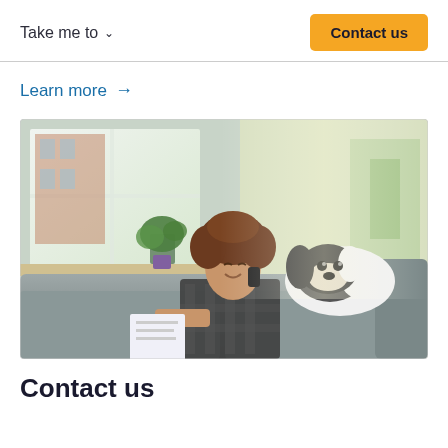Take me to   Contact us
Learn more →
[Figure (photo): A woman with curly hair sitting on a grey sofa, smiling while talking on a phone and holding papers. A black and white spaniel dog is resting on the back of the sofa beside her. Large windows with natural light and a potted plant are visible in the background.]
Contact us